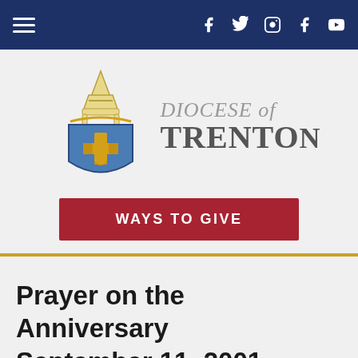Navigation bar with hamburger menu and social icons: f, twitter, instagram, f, youtube
[Figure (logo): Diocese of Trenton coat of arms / shield logo showing a blue shield with gold cross and bishop's mitre above]
DIOCESE of TRENTO
WAYS TO GIVE
Prayer on the Anniversary September 11, 2001